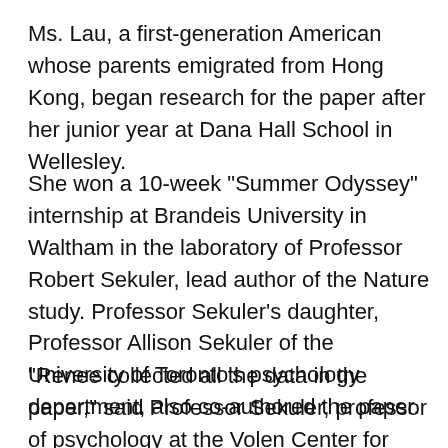Ms. Lau, a first-generation American whose parents emigrated from Hong Kong, began research for the paper after her junior year at Dana Hall School in Wellesley.
She won a 10-week "Summer Odyssey" internship at Brandeis University in Waltham in the laboratory of Professor Robert Sekuler, lead author of the Nature study. Professor Sekuler's daughter, Professor Allison Sekuler of the University of Toronto's psychology department, also co-authored the paper.
"Renee collected all the data in the paper," said Professor Sekuler, professor of psychology at the Volen Center for Complex Systems at Brandeis. "She